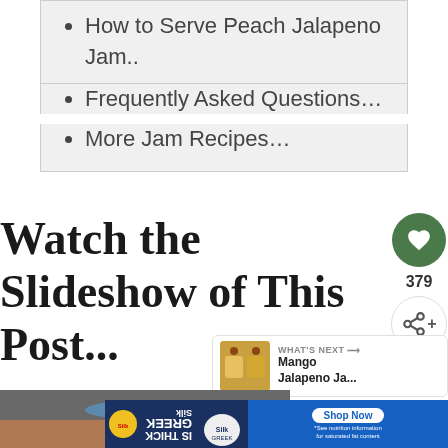How to Serve Peach Jalapeno Jam..
Frequently Asked Questions…
More Jam Recipes…
Watch the Slideshow of This Post...
WHAT'S NEXT → Mango Jalapeno Ja...
[Figure (photo): Photo of food/cooking, partially visible at bottom of page]
[Figure (other): Advertisement banner for Silk Greek yogurt with 'IS THICK GREEK' text, Shop Now button, and fine print about saturated fat content]